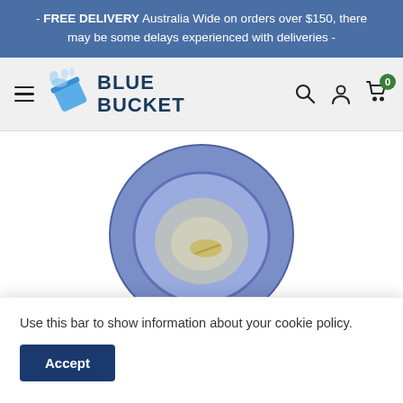- FREE DELIVERY Australia Wide on orders over $150, there may be some delays experienced with deliveries -
[Figure (logo): Blue Bucket logo with blue bucket icon and text BLUE BUCKET]
[Figure (photo): Blue plastic plate/bowl with a coin or item inside, product photo]
Use this bar to show information about your cookie policy.
Accept